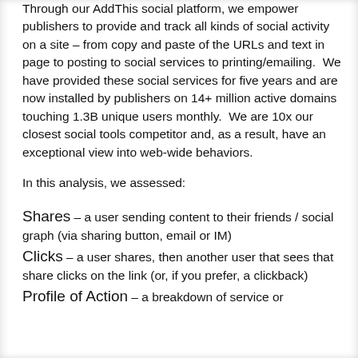Through our AddThis social platform, we empower publishers to provide and track all kinds of social activity on a site – from copy and paste of the URLs and text in page to posting to social services to printing/emailing.  We have provided these social services for five years and are now installed by publishers on 14+ million active domains touching 1.3B unique users monthly.  We are 10x our closest social tools competitor and, as a result, have an exceptional view into web-wide behaviors.
In this analysis, we assessed:
Shares – a user sending content to their friends / social graph (via sharing button, email or IM)
Clicks – a user shares, then another user that sees that share clicks on the link (or, if you prefer, a clickback)
Profile of Action – a breakdown of service or